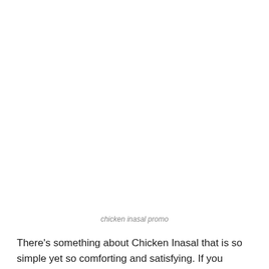chicken inasal promo
There’s something about Chicken Inasal that is so simple yet so comforting and satisfying. If you happen to be craving for